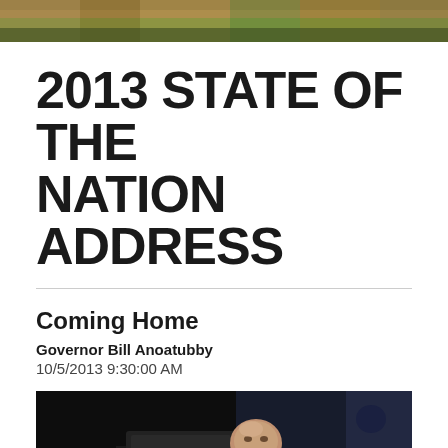[Figure (photo): Decorative header banner photo showing autumn foliage/landscape in muted colors]
2013 STATE OF THE NATION ADDRESS
Coming Home
Governor Bill Anoatubby
10/5/2013 9:30:00 AM
[Figure (photo): Photo of Governor Bill Anoatubby speaking at a podium on a dark stage, with a laptop visible and the governor in a dark suit]